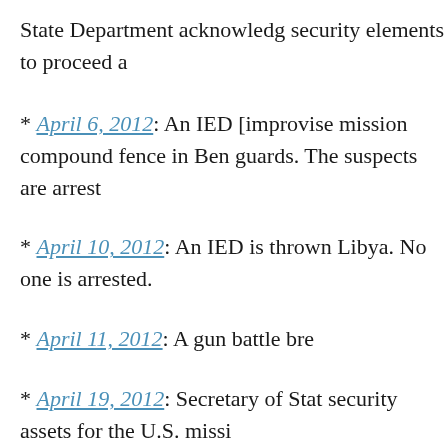State Department acknowledg security elements to proceed a
* April 6, 2012: An IED [improvise mission compound fence in Ben guards. The suspects are arrest
* April 10, 2012: An IED is thrown Libya. No one is arrested.
* April 11, 2012: A gun battle bre
* April 19, 2012: Secretary of Stat security assets for the U.S. missi